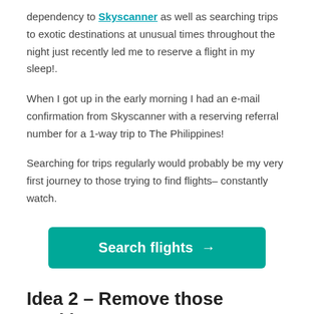dependency to Skyscanner as well as searching trips to exotic destinations at unusual times throughout the night just recently led me to reserve a flight in my sleep!.
When I got up in the early morning I had an e-mail confirmation from Skyscanner with a reserving referral number for a 1-way trip to The Philippines!
Searching for trips regularly would probably be my very first journey to those trying to find flights– constantly watch.
[Figure (other): Teal/green button labeled 'Search flights →']
Idea 2 – Remove those cookies!